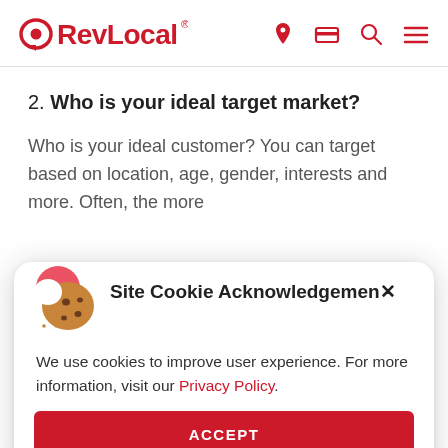RevLocal
2. Who is your ideal target market?
Who is your ideal customer? You can target based on location, age, gender, interests and more. Often, the more
Site Cookie Acknowledgement
We use cookies to improve user experience. For more information, visit our Privacy Policy.
ACCEPT
or other resources for your ad? You will